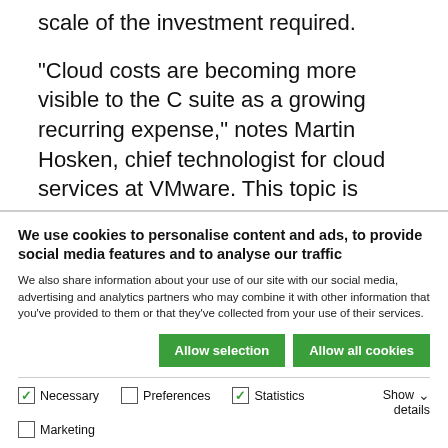scale of the investment required.
“Cloud costs are becoming more visible to the C suite as a growing recurring expense,” notes Martin Hosken, chief technologist for cloud services at VMware. This topic is “moving up the food chain in most organisations because it is so outcome driven – and CEOs care about outcomes”.
We use cookies to personalise content and ads, to provide social media features and to analyse our traffic
We also share information about your use of our site with our social media, advertising and analytics partners who may combine it with other information that you’ve provided to them or that they’ve collected from your use of their services.
Allow selection | Allow all cookies
Necessary | Preferences | Statistics | Marketing | Show details